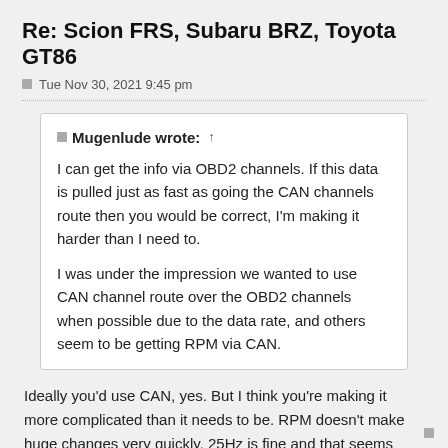Re: Scion FRS, Subaru BRZ, Toyota GT86
Tue Nov 30, 2021 9:45 pm
Mugenlude wrote: ↑
I can get the info via OBD2 channels. If this data is pulled just as fast as going the CAN channels route then you would be correct, I'm making it harder than I need to.

I was under the impression we wanted to use CAN channel route over the OBD2 channels when possible due to the data rate, and others seem to be getting RPM via CAN.
Ideally you'd use CAN, yes. But I think you're making it more complicated than it needs to be. RPM doesn't make huge changes very quickly, 25Hz is fine and that seems totally fine over OBD2. Even 10Hz is adequate, but I get wanting more rapid data that's all nicely synchronized.